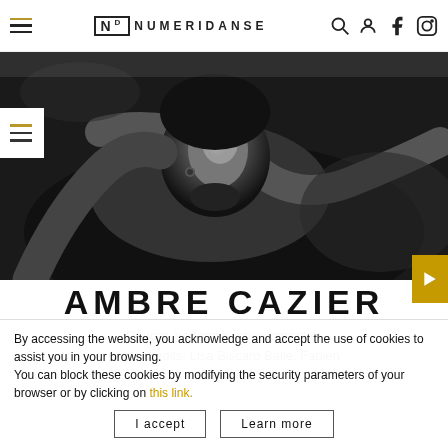NUMERIDANSE
[Figure (photo): Black and white portrait photo of Ambre Cazier, a dancer seen from above, lying on a dark surface, looking upward at the camera]
AMBRE CAZIER
Dancer, performer, choreographer
photo credits: Lisa Biscaro Balle, Fabien Leprieult
By accessing the website, you acknowledge and accept the use of cookies to assist you in your browsing. You can block these cookies by modifying the security parameters of your browser or by clicking on this link.
I accept   Learn more